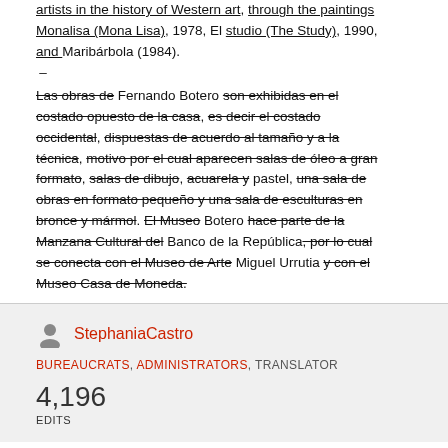artists in the history of Western art, through the paintings Monalisa (Mona Lisa), 1978, El studio (The Study), 1990, and Maribárbola (1984).
–
Las obras de Fernando Botero son exhibidas en el costado opuesto de la casa, es decir el costado occidental, dispuestas de acuerdo al tamaño y a la técnica, motivo por el cual aparecen salas de óleo a gran formato, salas de dibujo, acuarela y pastel, una sala de obras en formato pequeño y una sala de esculturas en bronce y mármol. El Museo Botero hace parte de la Manzana Cultural del Banco de la República, por lo cual se conecta con el Museo de Arte Miguel Urrutia y con el Museo Casa de Moneda.
StephaniaCastro
BUREAUCRATS, ADMINISTRATORS, TRANSLATOR
4,196 EDITS